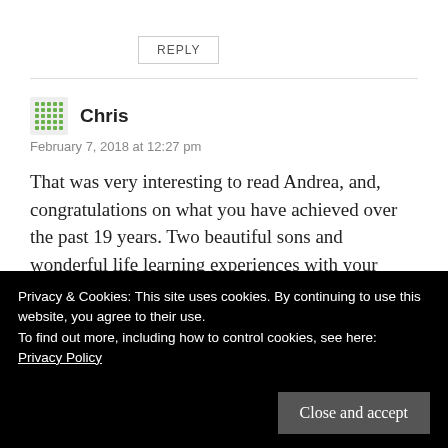REPLY
Chris
February 7, 2018 at 12:27 pm
That was very interesting to read Andrea, and, congratulations on what you have achieved over the past 19 years. Two beautiful sons and wonderful life learning experiences with your travels and adventures during that time. Keep positive and putting pen to paper, eventually
Privacy & Cookies: This site uses cookies. By continuing to use this website, you agree to their use.
To find out more, including how to control cookies, see here:
Privacy Policy
Close and accept